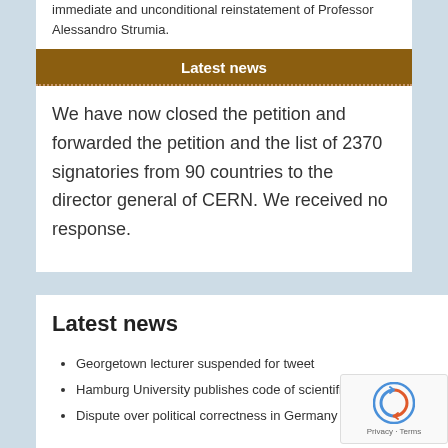immediate and unconditional reinstatement of Professor Alessandro Strumia.
Latest news
We have now closed the petition and forwarded the petition and the list of 2370 signatories from 90 countries to the director general of CERN. We received no response.
Latest news
Georgetown lecturer suspended for tweet
Hamburg University publishes code of scientific freedom
Dispute over political correctness in Germany